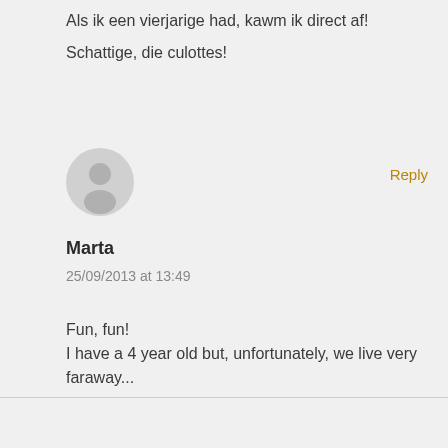Als ik een vierjarige had, kawm ik direct af!
Schattige, die culottes!
[Figure (illustration): Gray circular avatar icon with a generic person silhouette]
Reply
Marta
25/09/2013 at 13:49
Fun, fun!
I have a 4 year old but, unfortunately, we live very faraway...